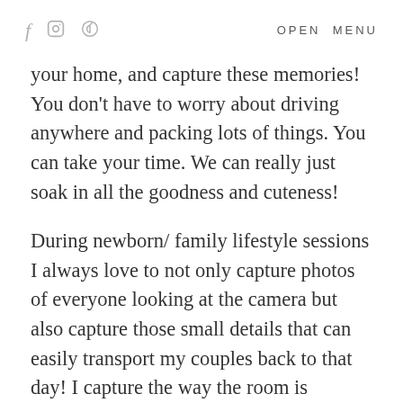f [instagram icon] [pinterest icon]   OPEN MENU
your home, and capture these memories! You don’t have to worry about driving anywhere and packing lots of things. You can take your time. We can really just soak in all the goodness and cuteness!
During newborn/ family lifestyle sessions I always love to not only capture photos of everyone looking at the camera but also capture those small details that can easily transport my couples back to that day! I capture the way the room is decorated, books that have been read,